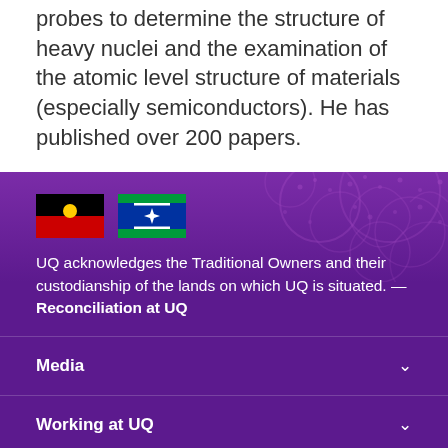probes to determine the structure of heavy nuclei and the examination of the atomic level structure of materials (especially semiconductors). He has published over 200 papers.
[Figure (illustration): Australian Aboriginal flag and Torres Strait Islander flag side by side]
UQ acknowledges the Traditional Owners and their custodianship of the lands on which UQ is situated. — Reconciliation at UQ
Media
Working at UQ
Current students